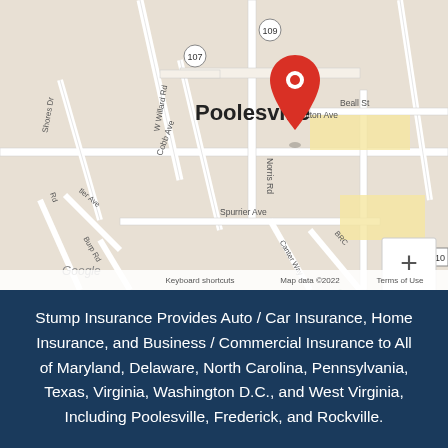[Figure (map): Google Maps view of Poolesville, Maryland with a red location pin. Streets visible include Norris Rd, Wootton Ave, W Willard Rd, Cobb Ave, Shores Dr, Hughes Rd, Cattail Rd, Beall St, Spurrier Ave, Burp Rd, Canter Way. Route markers 107 and 109 visible. Google branding, keyboard shortcuts, Map data ©2022, Terms of Use shown at bottom.]
Stump Insurance Provides Auto / Car Insurance, Home Insurance, and Business / Commercial Insurance to All of Maryland, Delaware, North Carolina, Pennsylvania, Texas, Virginia, Washington D.C., and West Virginia, Including Poolesville, Frederick, and Rockville.